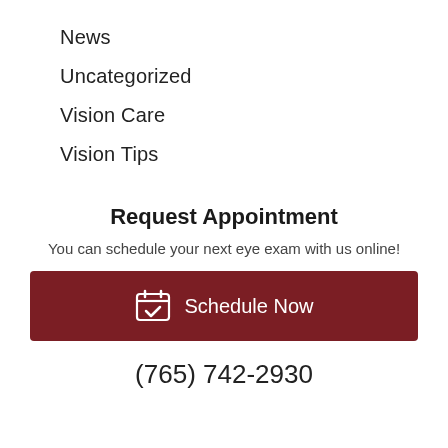News
Uncategorized
Vision Care
Vision Tips
Request Appointment
You can schedule your next eye exam with us online!
Schedule Now
(765) 742-2930